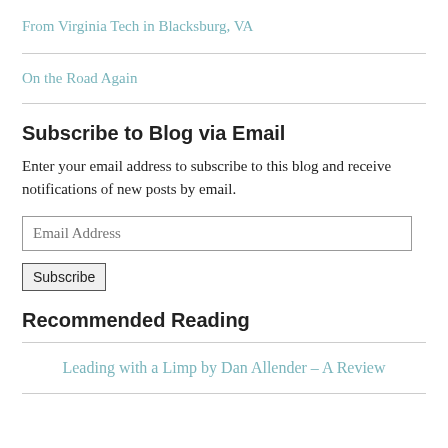From Virginia Tech in Blacksburg, VA
On the Road Again
Subscribe to Blog via Email
Enter your email address to subscribe to this blog and receive notifications of new posts by email.
Email Address
Subscribe
Recommended Reading
Leading with a Limp by Dan Allender – A Review